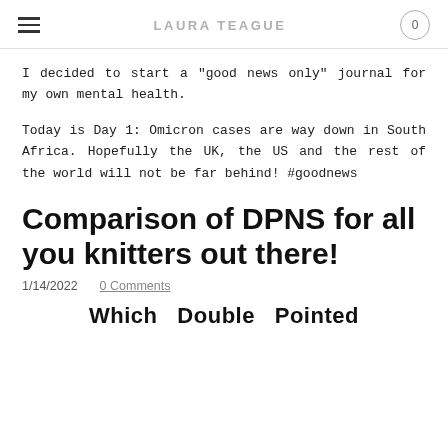LAURA TEAGUE
I decided to start a "good news only" journal for my own mental health.
Today is Day 1: Omicron cases are way down in South Africa. Hopefully the UK, the US and the rest of the world will not be far behind! #goodnews
Comparison of DPNS for all you knitters out there!
1/14/2022    0 Comments
Which   Double   Pointed